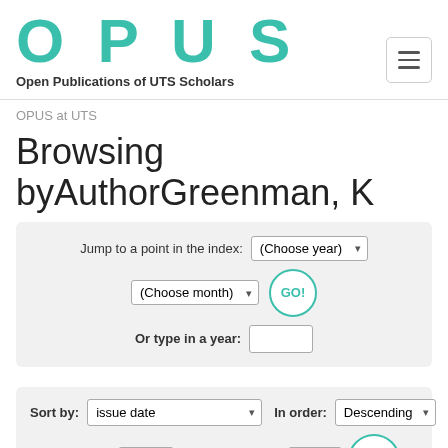[Figure (logo): OPUS logo with text 'Open Publications of UTS Scholars']
OPUS at UTS
Browsing byAuthorGreenman, K
Jump to a point in the index: (Choose year) (Choose month) GO! Or type in a year:
Sort by: issue date   In order: Descending   Results/Page 20   Authors/Record: All   UPDATE